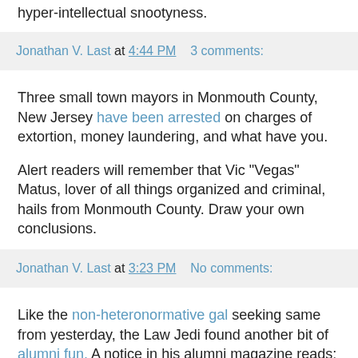hyper-intellectual snootyness.
Jonathan V. Last at 4:44 PM   3 comments:
Three small town mayors in Monmouth County, New Jersey have been arrested on charges of extortion, money laundering, and what have you.
Alert readers will remember that Vic "Vegas" Matus, lover of all things organized and criminal, hails from Monmouth County. Draw your own conclusions.
Jonathan V. Last at 3:23 PM   No comments:
Like the non-heteronormative gal seeking same from yesterday, the Law Jedi found another bit of alumni fun. A notice in his alumni magazine reads: